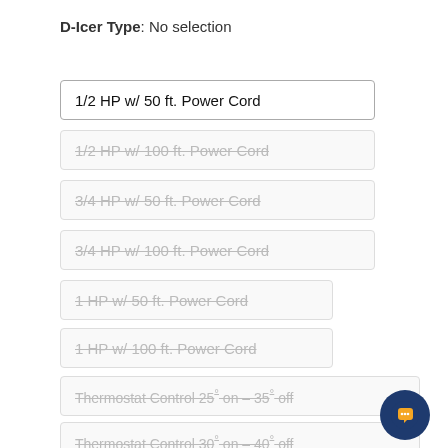D-Icer Type: No selection
1/2 HP w/ 50 ft. Power Cord
1/2 HP w/ 100 ft. Power Cord
3/4 HP w/ 50 ft. Power Cord
3/4 HP w/ 100 ft. Power Cord
1 HP w/ 50 ft. Power Cord
1 HP w/ 100 ft. Power Cord
Thermostat Control 25° on – 35° off
Thermostat Control 30° on – 40° off